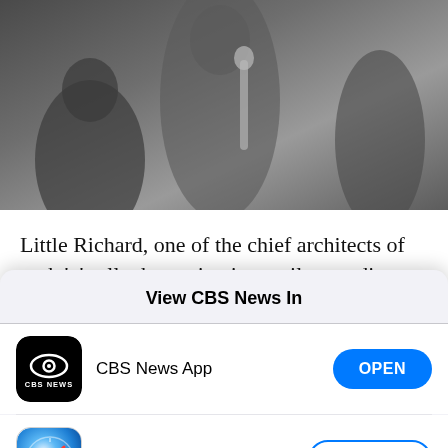[Figure (photo): Grayscale photo of people at what appears to be a music or news event, partially visible at top of page]
Little Richard, one of the chief architects of rock 'n' roll whose piercing wail, pounding piano and towering pompadour irrevocably altered popular
View CBS News In
[Figure (logo): CBS News app icon — black rounded square with CBS eye logo and 'CBS NEWS' text]
CBS News App
[Figure (logo): Safari browser icon — blue compass circle with red and white needle]
Safari